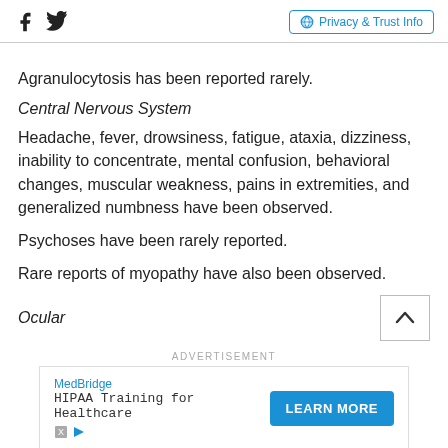[Social icons: Facebook, Twitter] | Privacy & Trust Info
Agranulocytosis has been reported rarely.
Central Nervous System
Headache, fever, drowsiness, fatigue, ataxia, dizziness, inability to concentrate, mental confusion, behavioral changes, muscular weakness, pains in extremities, and generalized numbness have been observed.
Psychoses have been rarely reported.
Rare reports of myopathy have also been observed.
Ocular
[Figure (other): Advertisement banner: MedBridge — HIPAA Training for Healthcare, with LEARN MORE button]